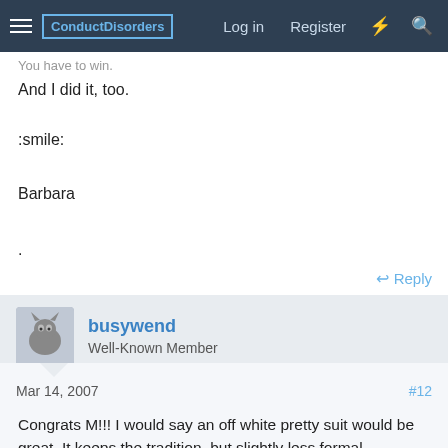ConductDisorders | Log in | Register
You have to win.
And I did it, too.
:smile:
Barbara
.
Reply
busywend
Well-Known Member
Mar 14, 2007
#12
Congrats M!!! I would say an off white pretty suit would be great. It keeps the tradition, but slightly less formal.